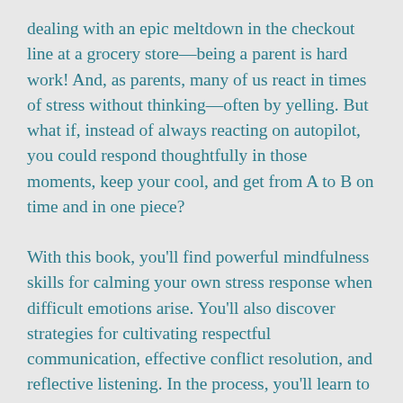dealing with an epic meltdown in the checkout line at a grocery store—being a parent is hard work! And, as parents, many of us react in times of stress without thinking—often by yelling. But what if, instead of always reacting on autopilot, you could respond thoughtfully in those moments, keep your cool, and get from A to B on time and in one piece?
With this book, you'll find powerful mindfulness skills for calming your own stress response when difficult emotions arise. You'll also discover strategies for cultivating respectful communication, effective conflict resolution, and reflective listening. In the process, you'll learn to examine your own unhelpful patterns